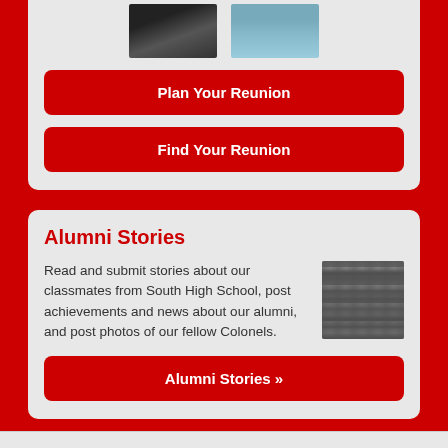[Figure (photo): Two small photos side by side: one appears to show people in dark clothing, another shows people in blue/light clothing]
Plan Your Reunion
Find Your Reunion
Alumni Stories
Read and submit stories about our classmates from South High School, post achievements and news about our alumni, and post photos of our fellow Colonels.
[Figure (photo): Black and white photo of framed pictures on a wall]
Alumni Stories »